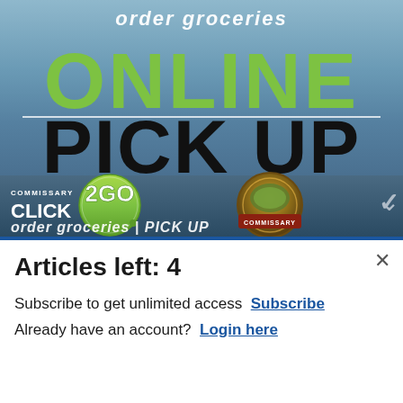[Figure (advertisement): Commissary Click2Go online grocery pickup advertisement. Top portion shows 'order groceries' in white italic text, 'ONLINE' in large green bold text, a divider line, and 'PICK UP' in large black bold text on a blue-grey gradient background. Bottom bar shows the Commissary Click2GO logo with a green circular badge, a Commissary food basket emblem badge, and a chevron arrow on the right.]
Articles left: 4
Subscribe to get unlimited access  Subscribe
Already have an account?  Login here